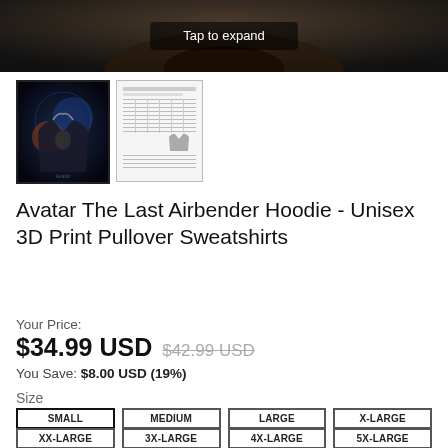[Figure (photo): Top portion of a dark-colored hoodie with 'Tap to expand' overlay button]
[Figure (photo): Thumbnail of Avatar The Last Airbender hoodie product, selected]
[Figure (table-as-image): Size chart thumbnail showing measurement table]
Avatar The Last Airbender Hoodie - Unisex 3D Print Pullover Sweatshirts
Your Price:
$34.99 USD $42.99 USD
You Save: $8.00 USD (19%)
Size
SMALL
MEDIUM
LARGE
X-LARGE
XX-LARGE
3X-LARGE
4X-LARGE
5X-LARGE